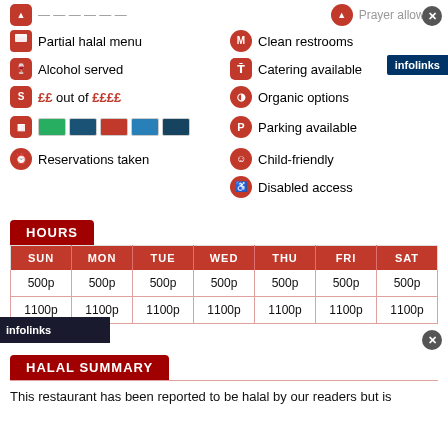Partial halal menu
Alcohol served
££ out of ££££
Reservations taken
Clean restrooms
Catering available
Organic options
Parking available
Child-friendly
Disabled access
HOURS
| SUN | MON | TUE | WED | THU | FRI | SAT |
| --- | --- | --- | --- | --- | --- | --- |
| 500p | 500p | 500p | 500p | 500p | 500p | 500p |
| 1100p | 1100p | 1100p | 1100p | 1100p | 1100p | 1100p |
HALAL SUMMARY
This restaurant has been reported to be halal by our readers but is not verified.